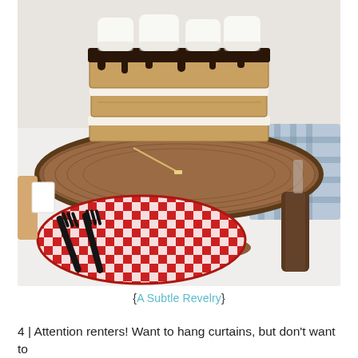[Figure (photo): A s'mores-style layered cake on a rustic wooden cake stand. The cake has graham cracker layers with chocolate ganache and marshmallow filling, topped with toasted marshmallows. In the foreground is a red checkered paper plate with black plastic forks. On the right is a blurred wooden-handled knife with a blue gingham napkin.]
{A Subtle Revelry}
4 | Attention renters! Want to hang curtains, but don't want to